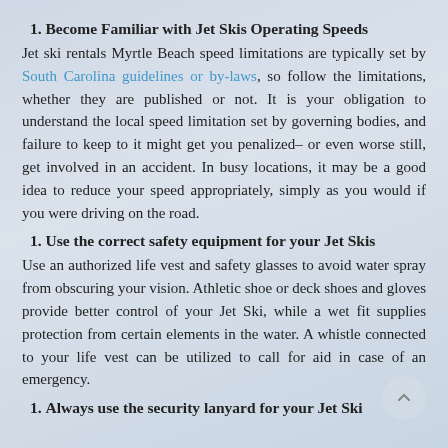1. Become Familiar with Jet Skis Operating Speeds
Jet ski rentals Myrtle Beach speed limitations are typically set by South Carolina guidelines or by-laws, so follow the limitations, whether they are published or not. It is your obligation to understand the local speed limitation set by governing bodies, and failure to keep to it might get you penalized– or even worse still, get involved in an accident. In busy locations, it may be a good idea to reduce your speed appropriately, simply as you would if you were driving on the road.
1. Use the correct safety equipment for your Jet Skis
Use an authorized life vest and safety glasses to avoid water spray from obscuring your vision. Athletic shoe or deck shoes and gloves provide better control of your Jet Ski, while a wet fit supplies protection from certain elements in the water. A whistle connected to your life vest can be utilized to call for aid in case of an emergency.
1. Always use the security lanyard for your Jet Ski